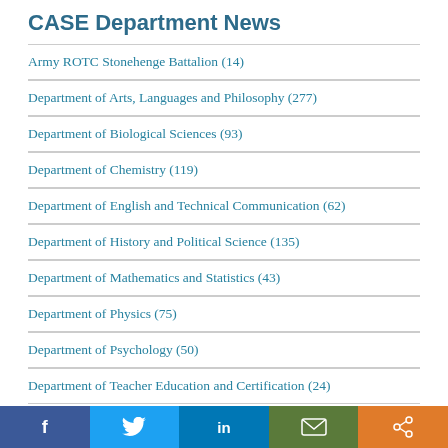CASE Department News
Army ROTC Stonehenge Battalion (14)
Department of Arts, Languages and Philosophy (277)
Department of Biological Sciences (93)
Department of Chemistry (119)
Department of English and Technical Communication (62)
Department of History and Political Science (135)
Department of Mathematics and Statistics (43)
Department of Physics (75)
Department of Psychology (50)
Department of Teacher Education and Certification (24)
CEC Department News
Chemical and Biochemical Engineering (95)
Facebook | Twitter | LinkedIn | Email | Share